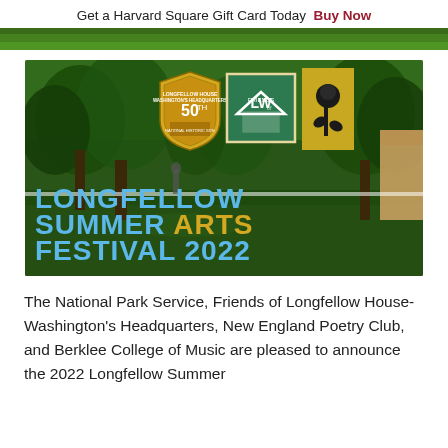Get a Harvard Square Gift Card Today  Buy Now
[Figure (photo): Outdoor lawn/grass banner strip at top of page]
[Figure (photo): Longfellow Summer Arts Festival 2022 promotional banner image showing a green lawn with trees, featuring the Longfellow House-Washington's Headquarters 50th anniversary shield logo, the Friends of Longfellow (FLW) green square logo, and a yellow banner with a rose illustration. Large text reads LONGFELLOW SUMMER ARTS FESTIVAL 2022 in blue and gold.]
The National Park Service, Friends of Longfellow House-Washington's Headquarters, New England Poetry Club, and Berklee College of Music are pleased to announce the 2022 Longfellow Summer